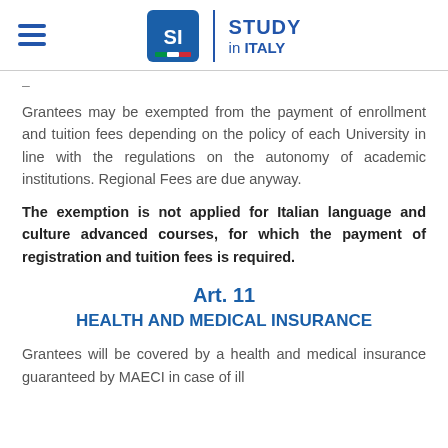Study in Italy
–
Grantees may be exempted from the payment of enrollment and tuition fees depending on the policy of each University in line with the regulations on the autonomy of academic institutions. Regional Fees are due anyway.
The exemption is not applied for Italian language and culture advanced courses, for which the payment of registration and tuition fees is required.
Art. 11
HEALTH AND MEDICAL INSURANCE
Grantees will be covered by a health and medical insurance guaranteed by MAECI in case of ill...